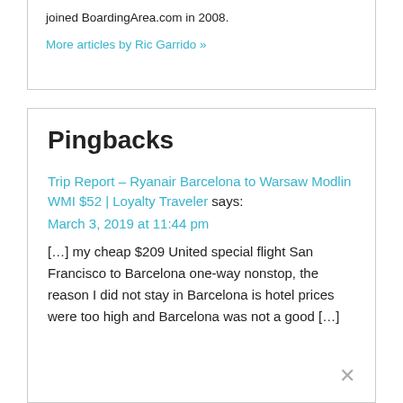joined BoardingArea.com in 2008.
More articles by Ric Garrido »
Pingbacks
Trip Report – Ryanair Barcelona to Warsaw Modlin WMI $52 | Loyalty Traveler says:
March 3, 2019 at 11:44 pm
[…] my cheap $209 United special flight San Francisco to Barcelona one-way nonstop, the reason I did not stay in Barcelona is hotel prices were too high and Barcelona was not a good […]